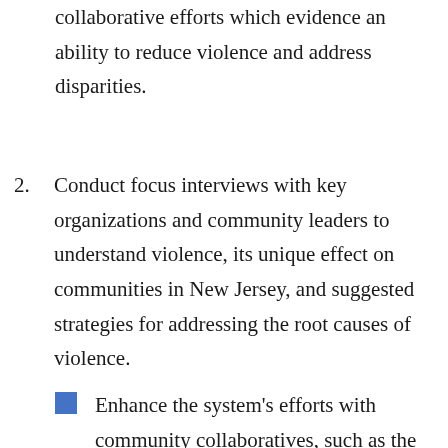collaborative efforts which evidence an ability to reduce violence and address disparities.
2. Conduct focus interviews with key organizations and community leaders to understand violence, its unique effect on communities in New Jersey, and suggested strategies for addressing the root causes of violence.
Enhance the system's efforts with community collaboratives, such as the